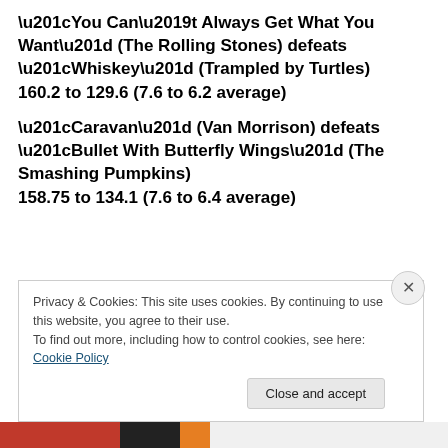“You Can’t Always Get What You Want” (The Rolling Stones) defeats “Whiskey” (Trampled by Turtles) 160.2 to 129.6 (7.6 to 6.2 average)
“Caravan” (Van Morrison) defeats “Bullet With Butterfly Wings” (The Smashing Pumpkins) 158.75 to 134.1 (7.6 to 6.4 average)
Privacy & Cookies: This site uses cookies. By continuing to use this website, you agree to their use.
To find out more, including how to control cookies, see here: Cookie Policy